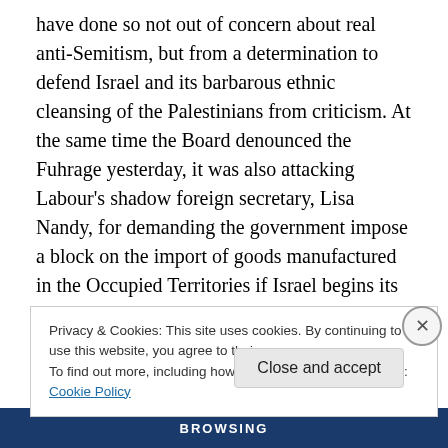have done so not out of concern about real anti-Semitism, but from a determination to defend Israel and its barbarous ethnic cleansing of the Palestinians from criticism. At the same time the Board denounced the Fuhrage yesterday, it was also attacking Labour's shadow foreign secretary, Lisa Nandy, for demanding the government impose a block on the import of goods manufactured in the Occupied Territories if Israel begins its planned annexation of a third of the West Bank tomorrow.

It looks to me that the Board's accusation of Farage for
Privacy & Cookies: This site uses cookies. By continuing to use this website, you agree to their use.
To find out more, including how to control cookies, see here: Cookie Policy
Close and accept
BROWSING